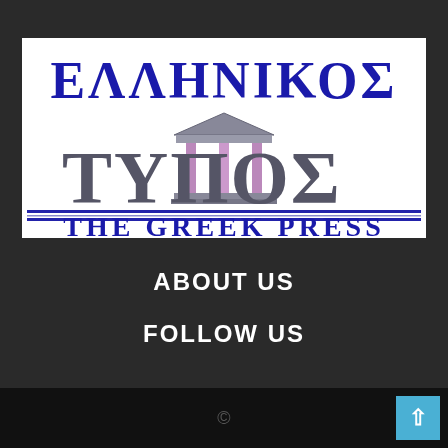[Figure (logo): Ellinikos Typos - The Greek Press logo. Top line shows 'ΕΛΛΗΝΙΚΟΣ' in bold blue stylized Greek letters. Middle shows 'ΤΥΠΟΣ' in large gray letters with a Greek temple/columns motif incorporated. Bottom shows 'THE GREEK PRESS' in bold blue stylized letters on white background.]
ABOUT US
FOLLOW US
©